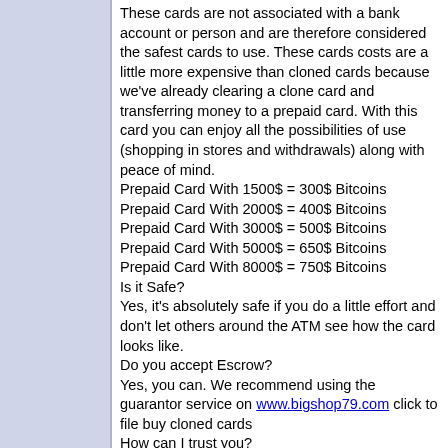These cards are not associated with a bank account or person and are therefore considered the safest cards to use. These cards costs are a little more expensive than cloned cards because we've already clearing a clone card and transferring money to a prepaid card. With this card you can enjoy all the possibilities of use (shopping in stores and withdrawals) along with peace of mind.
Prepaid Card With 1500$ = 300$ Bitcoins
Prepaid Card With 2000$ = 400$ Bitcoins
Prepaid Card With 3000$ = 500$ Bitcoins
Prepaid Card With 5000$ = 650$ Bitcoins
Prepaid Card With 8000$ = 750$ Bitcoins
Is it Safe?
Yes, it's absolutely safe if you do a little effort and don't let others around the ATM see how the card looks like.
Do you accept Escrow?
Yes, you can. We recommend using the guarantor service on www.bigshop79.com click to file buy cloned cards
How can I trust you?
We has been working since 2009 and looking at professionalism of members of our team and positive responses of our clients, you can be convinced that we are legit. If you do not get a cards, we will refund the money! If you do not trust us, you can always make your order through Escrow.